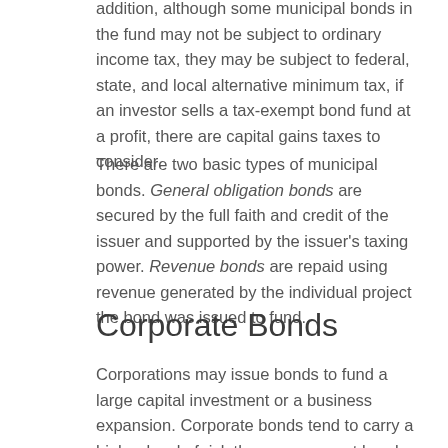addition, although some municipal bonds in the fund may not be subject to ordinary income tax, they may be subject to federal, state, and local alternative minimum tax, if an investor sells a tax-exempt bond fund at a profit, there are capital gains taxes to consider.
There are two basic types of municipal bonds. General obligation bonds are secured by the full faith and credit of the issuer and supported by the issuer's taxing power. Revenue bonds are repaid using revenue generated by the individual project the bond was issued to fund.
Corporate Bonds
Corporations may issue bonds to fund a large capital investment or a business expansion. Corporate bonds tend to carry a higher level of risk than government bonds, but they generally are associated with higher potential yields. The value